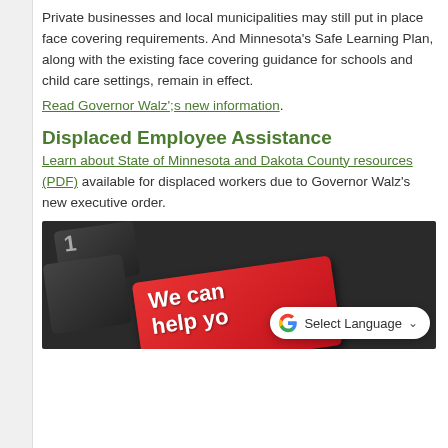Private businesses and local municipalities may still put in place face covering requirements. And Minnesota's Safe Learning Plan, along with the existing face covering guidance for schools and child care settings, remain in effect.
Read Governor Walz';s new information.
Displaced Employee Assistance
Learn about State of Minnesota and Dakota County resources (PDF) available for displaced workers due to Governor Walz's new executive order.
[Figure (photo): Close-up photo of a keyboard with a red key displaying 'We can help yo' text in white, with a Google Translate 'Select Language' widget overlay in the bottom right corner.]